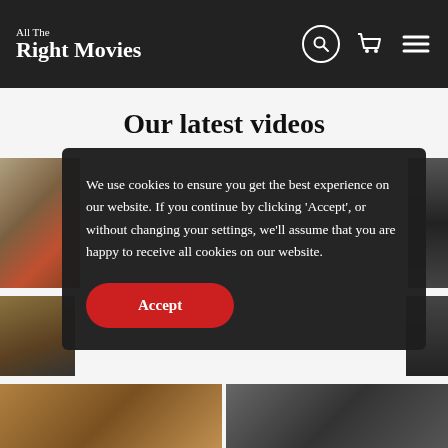All The Right Movies
Our latest videos
[Figure (screenshot): Cookie consent overlay on the All The Right Movies website. Dark semi-transparent modal with cookie notice text and a red Accept button.]
We use cookies to ensure you get the best experience on our website. If you continue by clicking ‘Accept’, or without changing your settings, we’ll assume that you are happy to receive all cookies on our website.
Accept